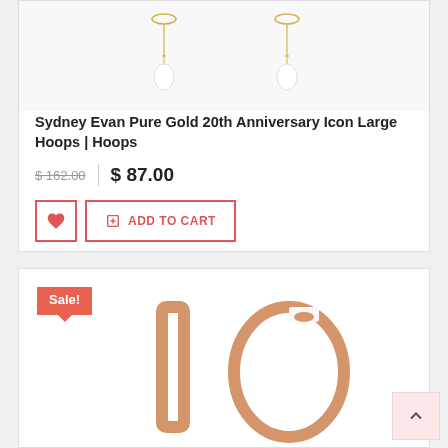[Figure (photo): Product image of gold drop earrings on white background, partially visible at top]
Sydney Evan Pure Gold 20th Anniversary Icon Large Hoops | Hoops
$ 162.00  |  $ 87.00
ADD TO CART
[Figure (photo): Sale badge and product image of rose gold huggie hoop earrings shown from two angles]
Sale!